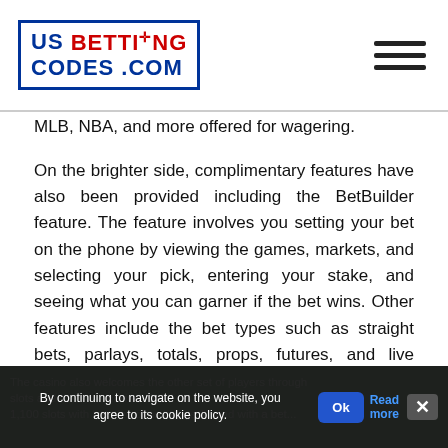US BETTING CODES .COM
MLB, NBA, and more offered for wagering.
On the brighter side, complimentary features have also been provided including the BetBuilder feature. The feature involves you setting your bet on the phone by viewing the games, markets, and selecting your pick, entering your stake, and seeing what you can garner if the bet wins. Other features include the bet types such as straight bets, parlays, totals, props, futures, and live betting. Popular markets have also been provided with soccer, for example, providing markets such as; Full Time, Total Goals, Goal markets, Corner markets, and more.
The casino also welcomes the other set of players through slots and ... casino. Des... 1,100 slots with bet size of as low as $1 and with a bet...
By continuing to navigate on the website, you agree to its cookie policy.